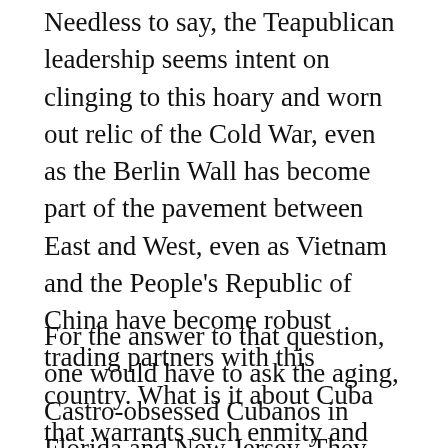Needless to say, the Teapublican leadership seems intent on clinging to this hoary and worn out relic of the Cold War, even as the Berlin Wall has become part of the pavement between East and West, even as Vietnam and the People's Republic of China have become robust trading partners with this country. What is it about Cuba that warrants such enmity and political hatred?
For the answer to that question, one would have to ask the aging, Castro-obsessed Cubanos in Florida and New Jersey. They are clearly the tail that is wagging the Teapublican dog.